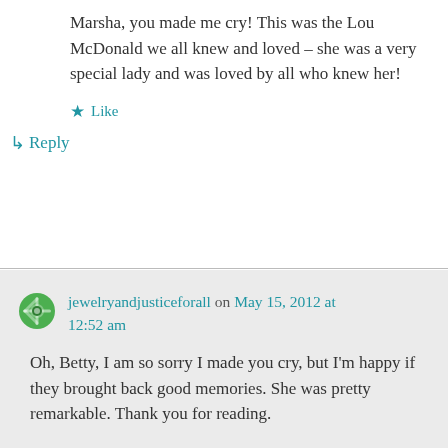[Figure (illustration): Small decorative icon with red and blue arrow/heart shapes at top left]
Marsha, you made me cry! This was the Lou McDonald we all knew and loved – she was a very special lady and was loved by all who knew her!
★ Like
↳ Reply
jewelryandjusticeforall on May 15, 2012 at 12:52 am
Oh, Betty, I am so sorry I made you cry, but I'm happy if they brought back good memories. She was pretty remarkable. Thank you for reading.